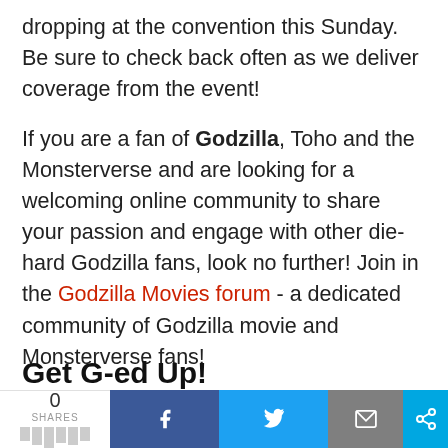dropping at the convention this Sunday. Be sure to check back often as we deliver coverage from the event!
If you are a fan of Godzilla, Toho and the Monsterverse and are looking for a welcoming online community to share your passion and engage with other die-hard Godzilla fans, look no further! Join in the Godzilla Movies forum - a dedicated community of Godzilla movie and Monsterverse fans!
Get G-ed Up!
0 SHARES [share buttons: Facebook, Twitter, Email, More]